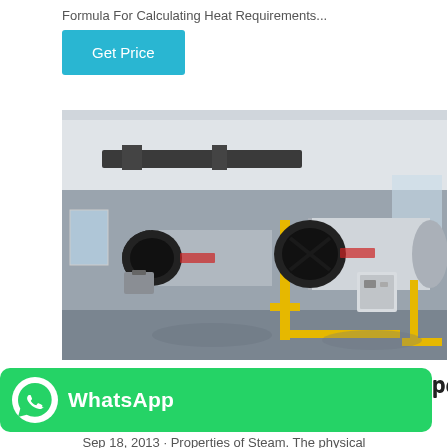Formula For Calculating Heat Requirements...
Get Price
[Figure (photo): Industrial boiler room with two large horizontal fire-tube boilers with circular front ends, yellow pipework, and associated equipment on a concrete floor inside a factory building.]
perties and Qualities: A
Sep 18, 2013 · Properties of Steam. The physical